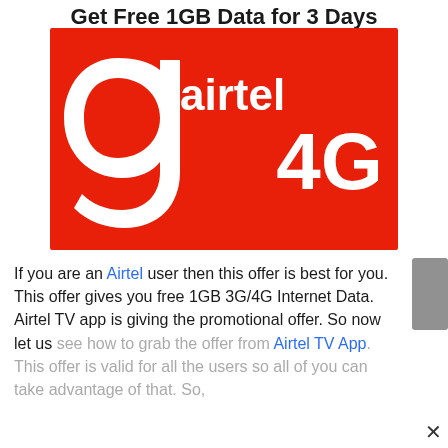Get Free 1GB Data for 3 Days
[Figure (logo): Airtel 4G advertisement banner on red background with white Airtel logo (stylized 'a' shape) and text 'airtel 4G' in white]
If you are an Airtel user then this offer is best for you. This offer gives you free 1GB 3G/4G Internet Data. Airtel TV app is giving the promotional offer. So now let us see how to grab the offer from Airtel TV App. This offer is valid for all the users so all of you can take advantage of that. So,